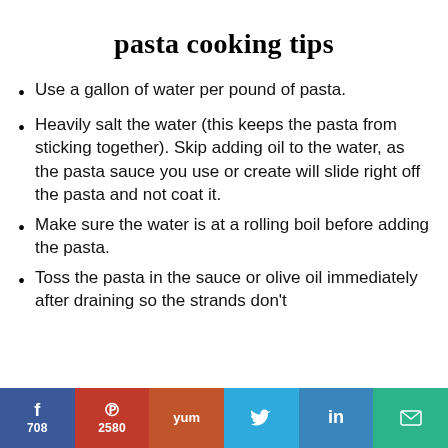pasta cooking tips
Use a gallon of water per pound of pasta.
Heavily salt the water (this keeps the pasta from sticking together). Skip adding oil to the water, as the pasta sauce you use or create will slide right off the pasta and not coat it.
Make sure the water is at a rolling boil before adding the pasta.
Toss the pasta in the sauce or olive oil immediately after draining so the strands don't stick together.
f 708 | Pinterest 2580 | Yum | Twitter | in | Email